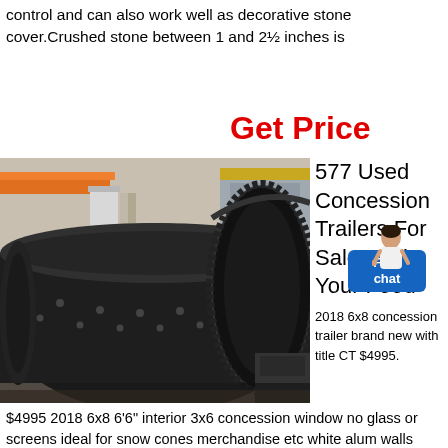control and can also work well as decorative stone cover.Crushed stone between 1 and 2½ inches is
Get Price
[Figure (photo): Industrial ball mill with large gear ring, photographed in a factory warehouse setting]
577 Used Concession Trailers For Sale. Sell Your Food
2018 6x8 concession trailer brand new with title CT $4995.
$4995 2018 6x8 6'6" interior 3x6 concession window no glass or screens ideal for snow cones merchandise etc white alum walls ceiling seamless1997 Ice Cream Trailer- $8500 Pittsboro NC. Very Nice 8 ft wide by 12 ft long food trailer.